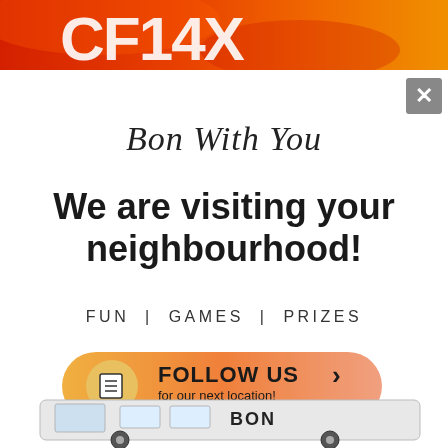[Figure (illustration): Red and orange branded banner with large stylized text/logo at the top of the page]
[Figure (illustration): Grey close/dismiss button (X) in top-right corner of popup]
Bon With You
We are visiting your neighbourhood!
FUN | GAMES | PRIZES
[Figure (illustration): Orange gradient pill-shaped button with document icon, bold text FOLLOW US > for our next location!]
[Figure (illustration): Partial view of a white retro van/bus with BON branding at the bottom of the page]